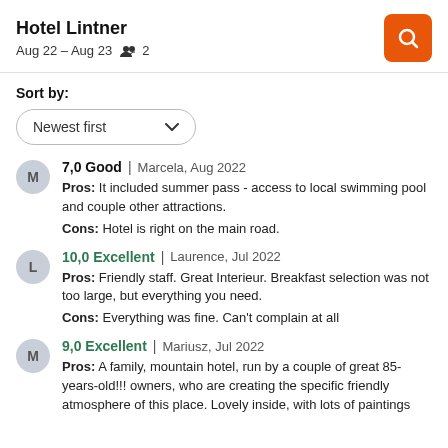Hotel Lintner
Aug 22 – Aug 23   2
Sort by:
Newest first
7,0 Good | Marcela, Aug 2022
Pros: It included summer pass - access to local swimming pool and couple other attractions.
Cons: Hotel is right on the main road.
10,0 Excellent | Laurence, Jul 2022
Pros: Friendly staff. Great Interieur. Breakfast selection was not too large, but everything you need.
Cons: Everything was fine. Can't complain at all
9,0 Excellent | Mariusz, Jul 2022
Pros: A family, mountain hotel, run by a couple of great 85-years-old!!! owners, who are creating the specific friendly atmosphere of this place. Lovely inside, with lots of paintings on the walls...